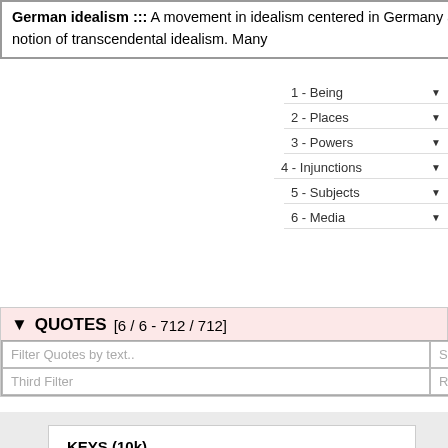German idealism ::: A movement in idealism centered in Germany and traditionally beginning with Immanuel Kant's notion of transcendental idealism. Many ...
1 - Being
2 - Places
3 - Powers
4 - Injunctions
5 - Subjects
6 - Media
▼ QUOTES [6 / 6 - 712 / 712]
Filter Quotes by text..
Second Filter
Third Filter
Reverse Filter
KEYS (10k)
5 Immanuel Kant
1 Aleister Crowley
NEW FULL DB (2.4M)
667 Immanuel Kant